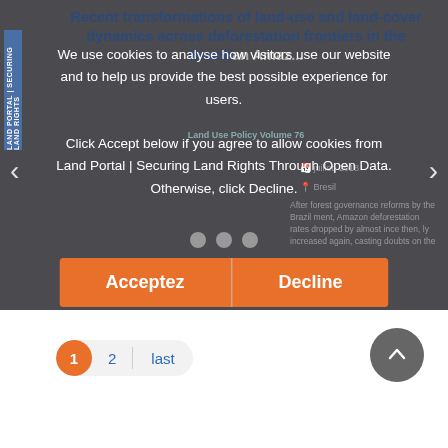Recent transformations of land-use and land-cover dynamics across deforestation frontiers in the Brazilian Amazon
We use cookies to analyse how visitors use our website and to help us provide the best possible experience for users.

Click Accept below if you agree to allow cookies from Land Portal | Securing Land Rights Through Open Data. Otherwise, click Decline.
Acceptez   Decline
1   2   last